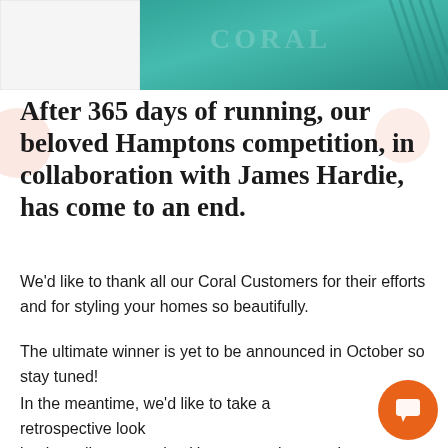[Figure (photo): Teal/turquoise coastal-themed decorative image at the top of the page, partially visible with a white rectangular area on the left side.]
After 365 days of running, our beloved Hamptons competition, in collaboration with James Hardie, has come to an end.
We'd like to thank all our Coral Customers for their efforts and for styling your homes so beautifully.
The ultimate winner is yet to be announced in October so stay tuned!
In the meantime, we'd like to take a retrospective look back at all our amazing Hamptons winners who set the bar incredibly high with their stunning coastal-inspired